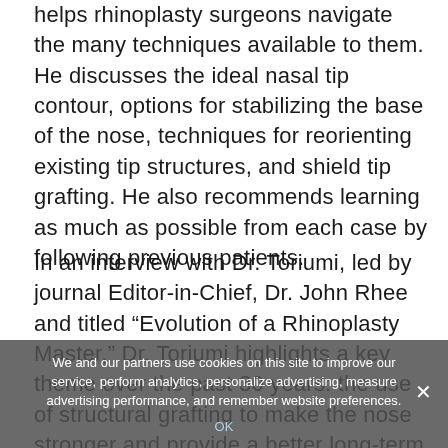helps rhinoplasty surgeons navigate the many techniques available to them. He discusses the ideal nasal tip contour, options for stabilizing the base of the nose, techniques for reorienting existing tip structures, and shield tip grafting. He also recommends learning as much as possible from each case by following previous patients.
In an interview with Dr. Toriumi, led by journal Editor-in-Chief, Dr. John Rhee and titled “Evolution of a Rhinoplasty Master,” Dr. Toriumi highlights a key theme over the past 30 years: the use of structural grafting to make the nose stronger and provide a better long-term aesthetic and functional outcome. Dr. Toriumi points out that structure rhinoplasty is neither preservation rhinoplasty nor is it destructive. Instead, the existing structures are supported by adding cartilage grafts. In describing the evolution in tip grafting, he says that shield tip graft can be very useful if used properly. Dr. Toriumi also discusses complex
We and our partners use cookies on this site to improve our service, perform analytics, personalize advertising, measure advertising performance, and remember website preferences.